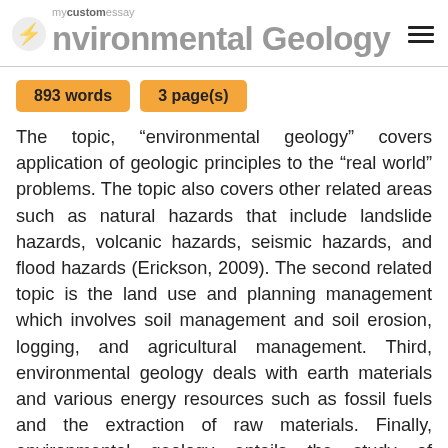Environmental Geology
893 words   3 page(s)
The topic, “environmental geology” covers application of geologic principles to the “real world” problems. The topic also covers other related areas such as natural hazards that include landslide hazards, volcanic hazards, seismic hazards, and flood hazards (Erickson, 2009). The second related topic is the land use and planning management which involves soil management and soil erosion, logging, and agricultural management. Third, environmental geology deals with earth materials and various energy resources such as fossil fuels and the extraction of raw materials. Finally, environmental geology entails the study of hydrologic resources such as the quality and